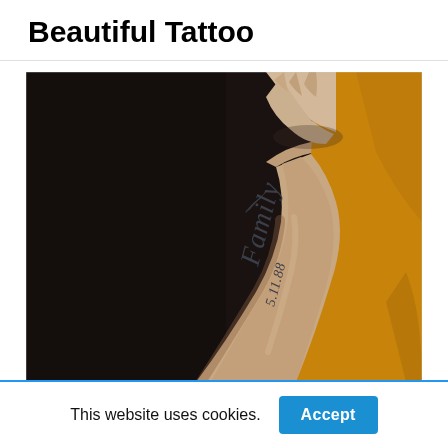Beautiful Tattoo
[Figure (photo): Close-up photo of a person's forearm with a cursive tattoo reading 'Family 5.11.88'. The person is wearing a mustard/golden yellow shirt, and their hands are clasped above. The background is very dark, nearly black.]
This guy expresses his love by writing the word family on
This website uses cookies.
Accept